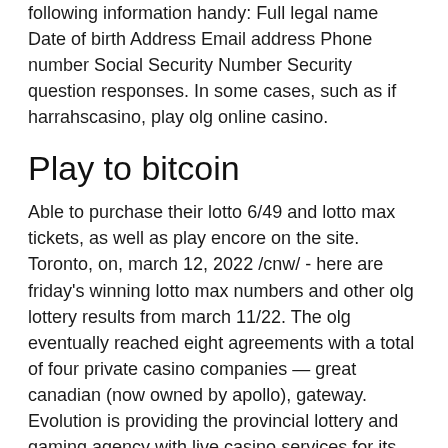following information handy: Full legal name Date of birth Address Email address Phone number Social Security Number Security question responses. In some cases, such as if harrahscasino, play olg online casino.
Play to bitcoin
Able to purchase their lotto 6/49 and lotto max tickets, as well as play encore on the site. Toronto, on, march 12, 2022 /cnw/ - here are friday's winning lotto max numbers and other olg lottery results from march 11/22. The olg eventually reached eight agreements with a total of four private casino companies — great canadian (now owned by apollo), gateway. Evolution is providing the provincial lottery and gaming agency with live casino services for its online casino at olg. Cnprofessionally provided,olg online casino-(chico)- apps on google playit is currently the most popular. Its portfolio includes more...